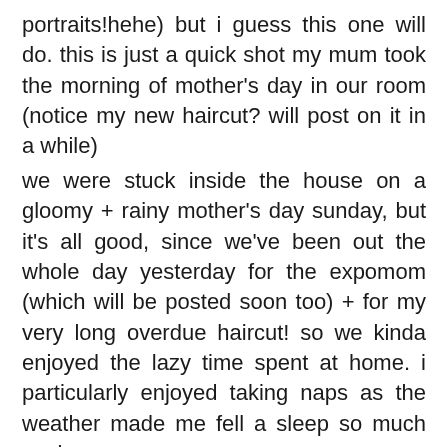portraits!hehe) but i guess this one will do. this is just a quick shot my mum took the morning of mother's day in our room (notice my new haircut? will post on it in a while)
we were stuck inside the house on a gloomy + rainy mother's day sunday, but it's all good, since we've been out the whole day yesterday for the expomom (which will be posted soon too) + for my very long overdue haircut! so we kinda enjoyed the lazy time spent at home. i particularly enjoyed taking naps as the weather made me fell a sleep so much easier.
we had a sumptuous kenny rogers dinner, courtesy of my tita cecille (sorry guys no photo was taken, dinner was gone soon as it was served, see!haha!), i particularly enjoyed their chicken noodle soup it is